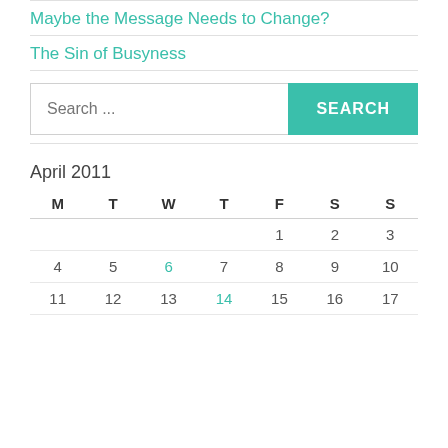Maybe the Message Needs to Change?
The Sin of Busyness
Search ...
| M | T | W | T | F | S | S |
| --- | --- | --- | --- | --- | --- | --- |
|  |  |  |  | 1 | 2 | 3 |
| 4 | 5 | 6 | 7 | 8 | 9 | 10 |
| 11 | 12 | 13 | 14 | 15 | 16 | 17 |